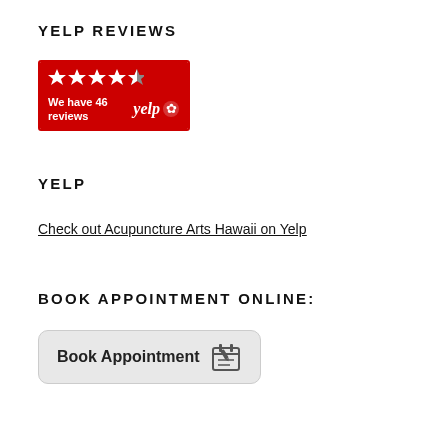YELP REVIEWS
[Figure (other): Yelp review badge showing 4.5 stars and text 'We have 46 reviews' with Yelp logo]
YELP
Check out Acupuncture Arts Hawaii on Yelp
BOOK APPOINTMENT ONLINE:
[Figure (other): Book Appointment button with calendar icon]